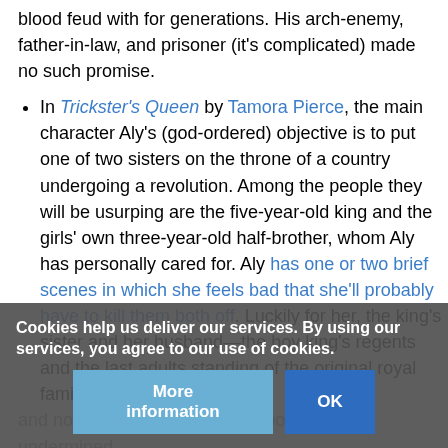blood feud with for generations. His arch-enemy, father-in-law, and prisoner (it's complicated) made no such promise.
In Trickster's Queen by Tamora Pierce, the main character Aly's (god-ordered) objective is to put one of two sisters on the throne of a country undergoing a revolution. Among the people they will be usurping are the five-year-old king and the girls' own three-year-old half-brother, whom Aly has personally cared for. Aly has one or two brief scenes in which she feels bad that she'll probably have to kill them both off. Luckily for her, the king's sister and her husband—the boy king's regents and the last adults standing of the original royal family, and now thoroughly paranoid about being undermined—take care of that for her.
To be fair to Aly, she was trying to find a way out of killing th... e avoiding them
Cookies help us deliver our services. By using our services, you agree to our use of cookies.